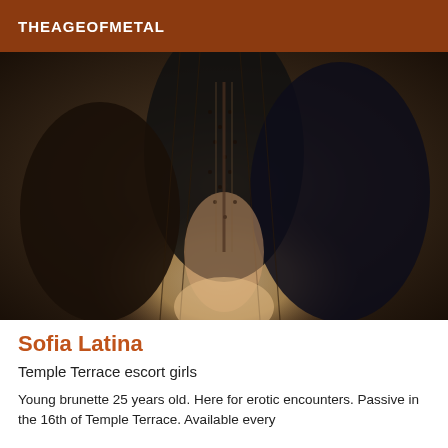THEAGEOFMETAL
[Figure (photo): Close-up photo of a person wearing black lace/fishnet clothing]
Sofia Latina
Temple Terrace escort girls
Young brunette 25 years old. Here for erotic encounters. Passive in the 16th of Temple Terrace. Available every